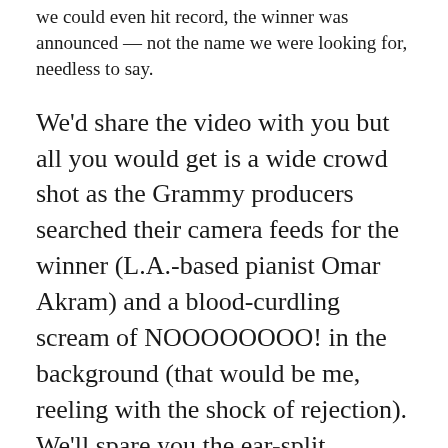we could even hit record, the winner was announced — not the name we were looking for, needless to say.
We'd share the video with you but all you would get is a wide crowd shot as the Grammy producers searched their camera feeds for the winner (L.A.-based pianist Omar Akram) and a blood-curdling scream of NOOOOOOOO! in the background (that would be me, reeling with the shock of rejection). We'll spare you the ear-split.
So, there it was.  Hopes shattered in an instant.  Pacing-the-room excitement transformed to disbelief faster than you could say Ommmm.  *Sigh* So close, but yet so far…
Aided and abetted by the kirtan support group that is The Bhakti